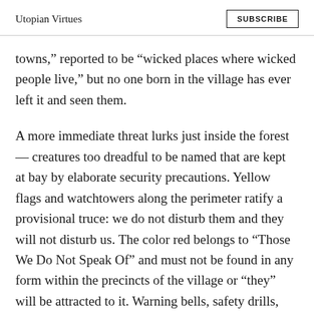Utopian Virtues | SUBSCRIBE
towns,” reported to be “wicked places where wicked people live,” but no one born in the village has ever left it and seen them.
A more immediate threat lurks just inside the forest — creatures too dreadful to be named that are kept at bay by elaborate security precautions. Yellow flags and watchtowers along the perimeter ratify a provisional truce: we do not disturb them and they will not disturb us. The color red belongs to “Those We Do Not Speak Of” and must not be found in any form within the precincts of the village or “they” will be attracted to it. Warning bells, safety drills, and ritual peace offerings serve to remind the villagers